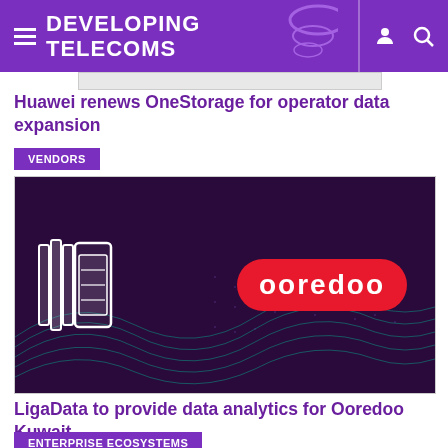DEVELOPING TELECOMS
Huawei renews OneStorage for operator data expansion
VENDORS
[Figure (logo): Ooredoo and Huawei logos on dark purple background with teal wave pattern]
LigaData to provide data analytics for Ooredoo Kuwait
ENTERPRISE ECOSYSTEMS